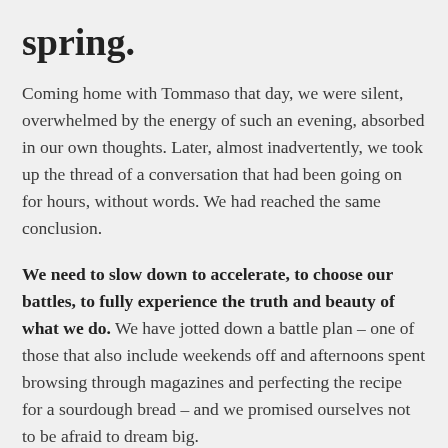spring.
Coming home with Tommaso that day, we were silent, overwhelmed by the energy of such an evening, absorbed in our own thoughts. Later, almost inadvertently, we took up the thread of a conversation that had been going on for hours, without words. We had reached the same conclusion.
We need to slow down to accelerate, to choose our battles, to fully experience the truth and beauty of what we do. We have jotted down a battle plan – one of those that also include weekends off and afternoons spent browsing through magazines and perfecting the recipe for a sourdough bread – and we promised ourselves not to be afraid to dream big.
It was one of those moments when you realise you got to the crux of the problem, even though you still can't focus